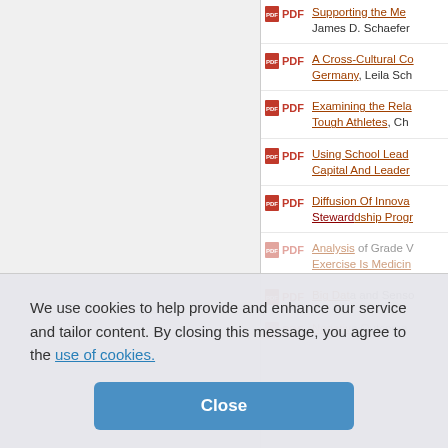PDF | Supporting the Me... — James D. Schaefer
PDF | A Cross-Cultural Co... Germany, Leila Sch...
PDF | Examining the Rela... Tough Athletes, Ch...
PDF | Using School Lead... Capital And Leader...
PDF | Diffusion Of Innova... Stewardship Progr...
PDF | Analysis of Grade V... Exercise Is Medicin...
PDF | Big Data and Senso...
PDF | Negative Outcome...
We use cookies to help provide and enhance our service and tailor content. By closing this message, you agree to the use of cookies.